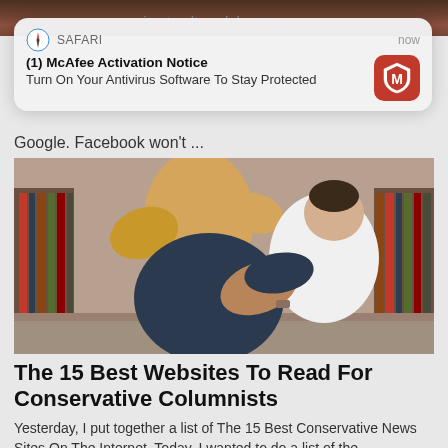[Figure (screenshot): Safari push notification popup from McAfee saying '(1) McAfee Activation Notice' and 'Turn On Your Antivirus Software To Stay Protected', with McAfee red shield icon, overlaid on a webpage]
Google. Facebook won't ...
[Figure (photo): A person with blonde hair holding a baby or small child in front of a bookshelf filled with books]
The 15 Best Websites To Read For Conservative Columnists
Yesterday, I put together a list of The 15 Best Conservative News Sites On The Internet. Today, I wanted to do a list of the